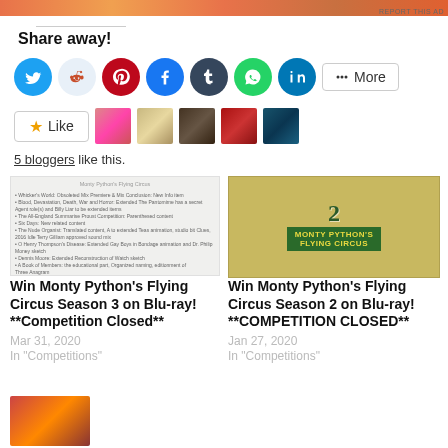[Figure (other): Orange gradient advertisement banner with 'REPORT THIS AD' text]
Share away!
[Figure (other): Row of social sharing icon buttons: Twitter, Reddit, Pinterest, Facebook, Tumblr, WhatsApp, LinkedIn, and More button]
[Figure (other): Like button with star icon and 5 blogger avatar thumbnails]
5 bloggers like this.
[Figure (other): Thumbnail image for Monty Python Flying Circus Season 3 post with small text listing content]
[Figure (other): Thumbnail image for Monty Python Flying Circus Season 2 Blu-ray]
Win Monty Python's Flying Circus Season 3 on Blu-ray! **Competition Closed**
Mar 31, 2020
In "Competitions"
Win Monty Python's Flying Circus Season 2 on Blu-ray! **COMPETITION CLOSED**
Jan 27, 2020
In "Competitions"
[Figure (other): Partial thumbnail at bottom left]